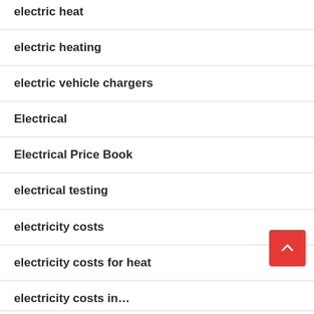electric heat
electric heating
electric vehicle chargers
Electrical
Electrical Price Book
electrical testing
electricity costs
electricity costs for heat
electricity costs in…